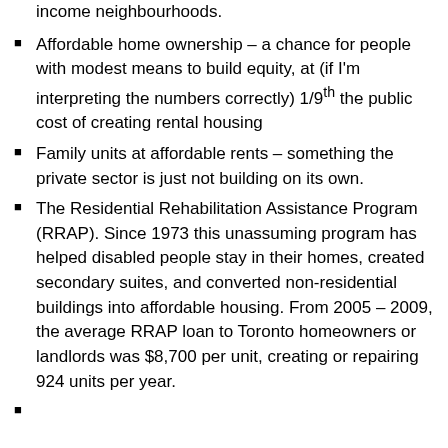income neighbourhoods.
Affordable home ownership – a chance for people with modest means to build equity, at (if I'm interpreting the numbers correctly) 1/9th the public cost of creating rental housing
Family units at affordable rents – something the private sector is just not building on its own.
The Residential Rehabilitation Assistance Program (RRAP). Since 1973 this unassuming program has helped disabled people stay in their homes, created secondary suites, and converted non-residential buildings into affordable housing. From 2005 – 2009, the average RRAP loan to Toronto homeowners or landlords was $8,700 per unit, creating or repairing 924 units per year.